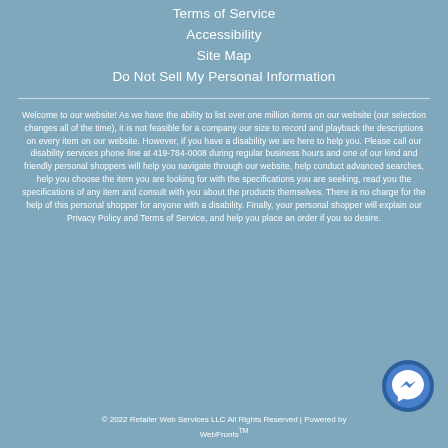Terms of Service
Accessibility
Site Map
Do Not Sell My Personal Information
Welcome to our website! As we have the ability to list over one million items on our website (our selection changes all of the time), it is not feasible for a company our size to record and playback the descriptions on every item on our website. However, if you have a disability we are here to help you. Please call our disability services phone line at 419-784-0008 during regular business hours and one of our kind and friendly personal shoppers will help you navigate through our website, help conduct advanced searches, help you choose the item you are looking for with the specifications you are seeking, read you the specifications of any item and consult with you about the products themselves. There is no charge for the help of this personal shopper for anyone with a disability. Finally, your personal shopper will explain our Privacy Policy and Terms of Service, and help you place an order if you so desire.
© 2022 Retailer Web Services LLC All Rights Reserved | Powered by WebFronts™